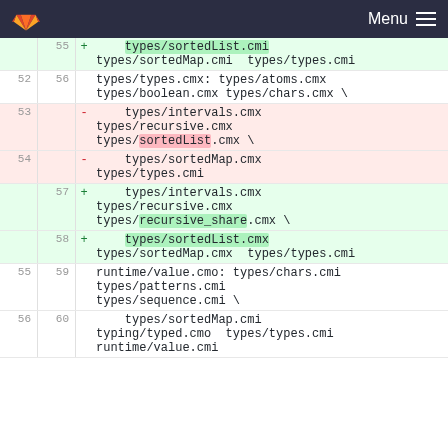GitLab — Menu
Diff view showing git diff lines 52-60 with added/removed lines for types/*.cmi and types/*.cmx files